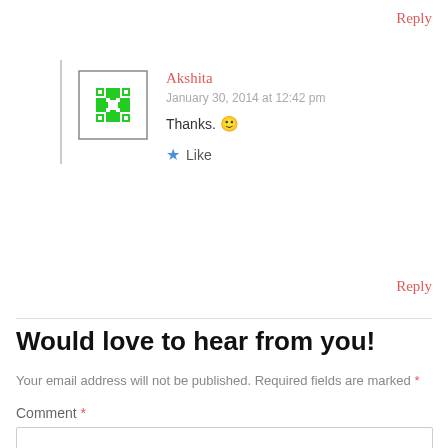Reply
Akshita
January 30, 2014 at 12:42 pm
Thanks. 🙂
★ Like
Reply
Would love to hear from you!
Your email address will not be published. Required fields are marked *
Comment *